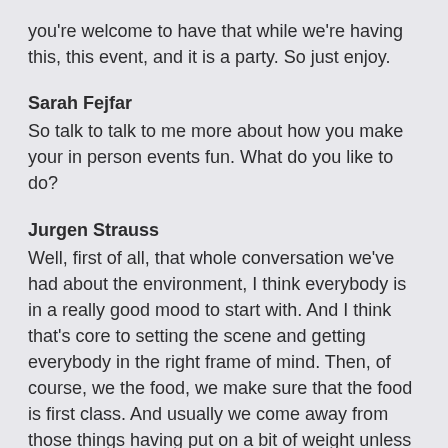you're welcome to have that while we're having this, this event, and it is a party. So just enjoy.
Sarah Fejfar
So talk to talk to me more about how you make your in person events fun. What do you like to do?
Jurgen Strauss
Well, first of all, that whole conversation we've had about the environment, I think everybody is in a really good mood to start with. And I think that's core to setting the scene and getting everybody in the right frame of mind. Then, of course, we the food, we make sure that the food is first class. And usually we come away from those things having put on a bit of weight unless somebody's disciplined enough to go to the gym in between time. The usually it's at the water so